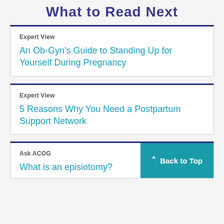What to Read Next
Expert View
An Ob-Gyn's Guide to Standing Up for Yourself During Pregnancy
Expert View
5 Reasons Why You Need a Postpartum Support Network
Ask ACOG
What is an episiotomy?
Back to Top